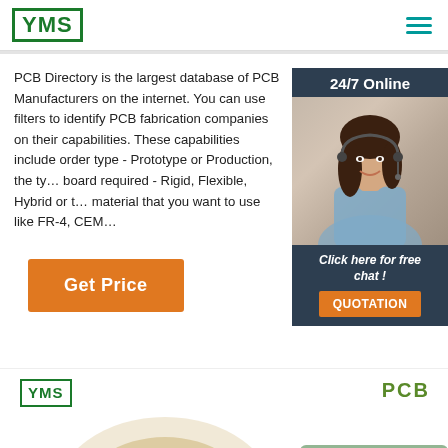[Figure (logo): YMS logo — green bordered rectangle with YMS text in green]
[Figure (other): Hamburger menu icon with three teal horizontal lines]
PCB Directory is the largest database of PCB Manufacturers on the internet. You can use filters to identify PCB fabrication companies on their capabilities. These capabilities include order type - Prototype or Production, the type of board required - Rigid, Flexible, Hybrid or the material that you want to use like FR-4, CEM...
[Figure (photo): 24/7 Online chat widget showing a woman with headset on dark navy background with Click here for free chat! text and QUOTATION orange button]
[Figure (other): Orange Get Price button]
[Figure (logo): YMS logo at bottom — green bordered rectangle with YMS text]
PCB
[Figure (photo): Bottom image area showing PCB boards — flexible PCB and green PCB partially visible]